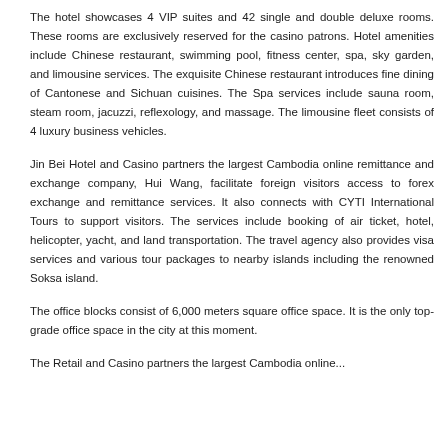The hotel showcases 4 VIP suites and 42 single and double deluxe rooms. These rooms are exclusively reserved for the casino patrons. Hotel amenities include Chinese restaurant, swimming pool, fitness center, spa, sky garden, and limousine services. The exquisite Chinese restaurant introduces fine dining of Cantonese and Sichuan cuisines. The Spa services include sauna room, steam room, jacuzzi, reflexology, and massage. The limousine fleet consists of 4 luxury business vehicles.
Jin Bei Hotel and Casino partners the largest Cambodia online remittance and exchange company, Hui Wang, facilitate foreign visitors access to forex exchange and remittance services. It also connects with CYTI International Tours to support visitors. The services include booking of air ticket, hotel, helicopter, yacht, and land transportation. The travel agency also provides visa services and various tour packages to nearby islands including the renowned Soksa island.
The office blocks consist of 6,000 meters square office space. It is the only top-grade office space in the city at this moment.
The Retail and...